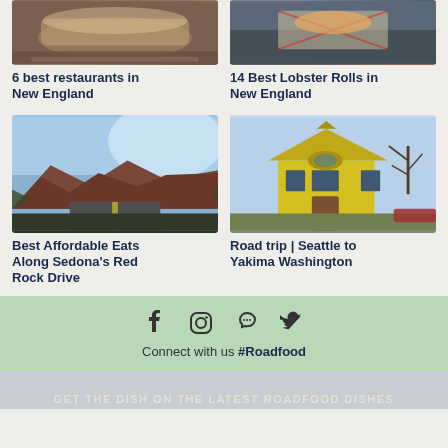[Figure (photo): Close-up of a sandwich in a paper-lined tray]
[Figure (photo): Lobster rolls in a red-checked paper-lined tray]
6 best restaurants in New England
14 Best Lobster Rolls in New England
[Figure (photo): Red rock landscape along Sedona's road]
[Figure (photo): Yellow church building with trees in Yakima, Washington]
Best Affordable Eats Along Sedona's Red Rock Drive
Road trip | Seattle to Yakima Washington
Connect with us #Roadfood
GET THE DISH ON THE LATEST ROADFOOD DISHES